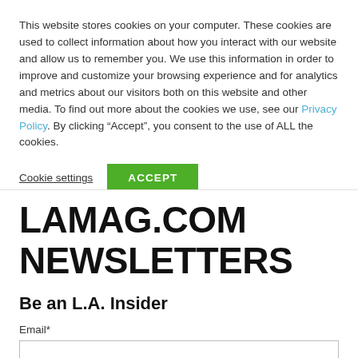This website stores cookies on your computer. These cookies are used to collect information about how you interact with our website and allow us to remember you. We use this information in order to improve and customize your browsing experience and for analytics and metrics about our visitors both on this website and other media. To find out more about the cookies we use, see our Privacy Policy. By clicking “Accept”, you consent to the use of ALL the cookies.
Cookie settings   ACCEPT
LAMAG.COM NEWSLETTERS
Be an L.A. Insider
Email*